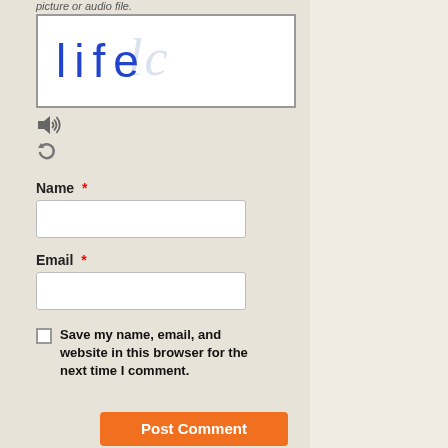picture or audio file.
[Figure (other): CAPTCHA image showing the text 'life exam' in blue handwritten-style font on a white background with faint watermark text]
[Figure (other): Audio icon (speaker with sound waves)]
[Figure (other): Refresh/reload icon (two curved arrows)]
Name *
[Figure (other): Name input text field (empty)]
Email *
[Figure (other): Email input text field (empty)]
Save my name, email, and website in this browser for the next time I comment.
Post Comment